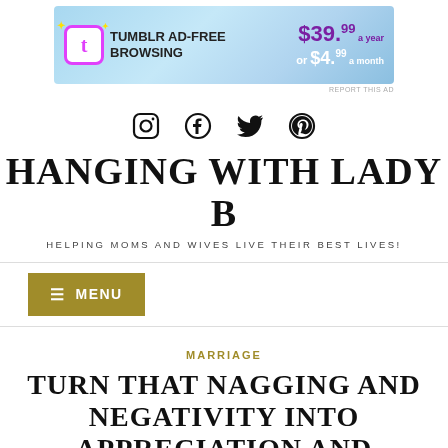[Figure (screenshot): Tumblr Ad-Free Browsing advertisement banner, $39.99 a year or $4.99 a month]
REPORT THIS AD
[Figure (other): Social media icons: Instagram, Facebook, Twitter, Pinterest]
HANGING WITH LADY B
HELPING MOMS AND WIVES LIVE THEIR BEST LIVES!
≡ MENU
MARRIAGE
TURN THAT NAGGING AND NEGATIVITY INTO APPRECIATION AND POSITIVITY